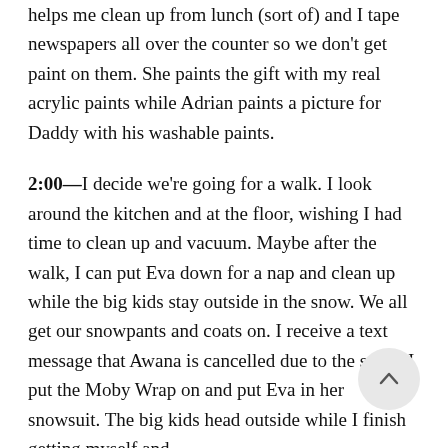helps me clean up from lunch (sort of) and I tape newspapers all over the counter so we don't get paint on them. She paints the gift with my real acrylic paints while Adrian paints a picture for Daddy with his washable paints.
2:00—I decide we're going for a walk. I look around the kitchen and at the floor, wishing I had time to clean up and vacuum. Maybe after the walk, I can put Eva down for a nap and clean up while the big kids stay outside in the snow. We all get our snowpants and coats on. I receive a text message that Awana is cancelled due to the snow. I put the Moby Wrap on and put Eva in her snowsuit. The big kids head outside while I finish getting myself and